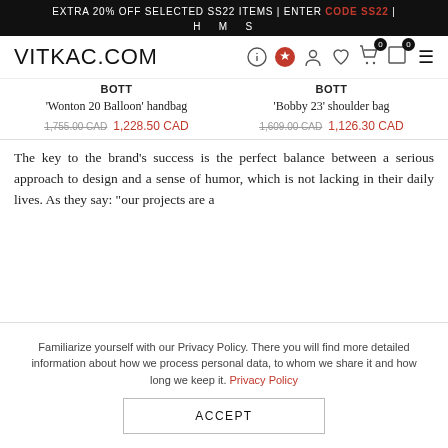EXTRA 20% OFF SELECTED SS22 ITEMS | ENTER CODE SS22 | H M S
VITKAC.COM
BOTT
'Wonton 20 Balloon' handbag
1,755.00 CAD  1,228.50 CAD
BOTT
'Bobby 23' shoulder bag
1,609.00 CAD  1,126.30 CAD
The key to the brand's success is the perfect balance between a serious approach to design and a sense of humor, which is not lacking in their daily lives. As they say: "our projects are a
Familiarize yourself with our Privacy Policy. There you will find more detailed information about how we process personal data, to whom we share it and how long we keep it. Privacy Policy
ACCEPT